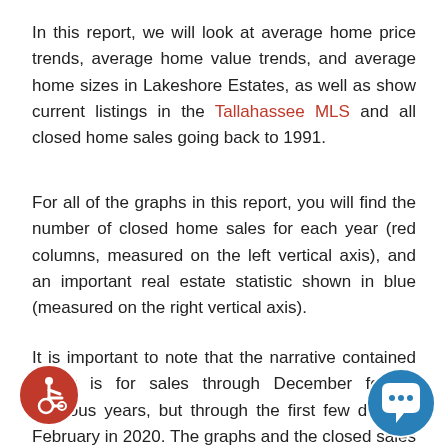In this report, we will look at average home price trends, average home value trends, and average home sizes in Lakeshore Estates, as well as show current listings in the Tallahassee MLS and all closed home sales going back to 1991.
For all of the graphs in this report, you will find the number of closed home sales for each year (red columns, measured on the left vertical axis), and an important real estate statistic shown in blue (measured on the right vertical axis).
It is important to note that the narrative contained below is for sales through December for all previous years, but through the first few days of February in 2020. The graphs and the closed sales table will be continuously updated in the future (meaning bookmark this page if you always want to know the current status of homes in the Lakeshore